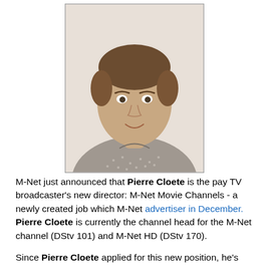[Figure (photo): Headshot portrait of Pierre Cloete, a middle-aged man with short brown hair, wearing a grey floral patterned shirt, smiling slightly against a white background.]
M-Net just announced that Pierre Cloete is the pay TV broadcaster's new director: M-Net Movie Channels - a newly created job which M-Net advertiser in December. Pierre Cloete is currently the channel head for the M-Net channel (DStv 101) and M-Net HD (DStv 170).
Since Pierre Cloete applied for this new position, he's